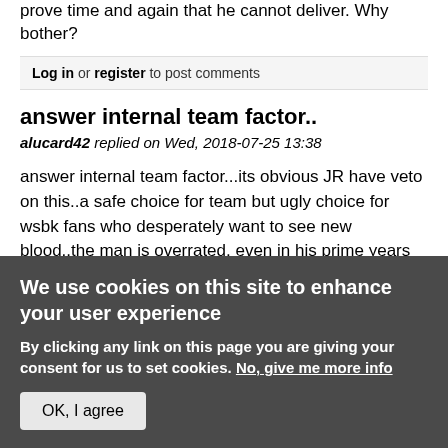prove time and again that he cannot deliver. Why bother?
Log in or register to post comments
answer internal team factor..
alucard42 replied on Wed, 2018-07-25 13:38
answer internal team factor...its obvious JR have veto on this..a safe choice for team but ugly choice for wsbk fans who desperately want to see new blood..the man is overrated, even in his prime years riding stiggy & alstare he making too many mistake.
We use cookies on this site to enhance your user experience
By clicking any link on this page you are giving your consent for us to set cookies. No, give me more info
OK, I agree